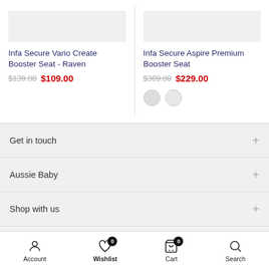Infa Secure Vario Create Booster Seat - Raven
$139.00 $109.00
Infa Secure Aspire Premium Booster Seat
$309.00 $229.00
Get in touch
Aussie Baby
Shop with us
Newsletter Signup
Account  Wishlist 0  Cart 0  Search